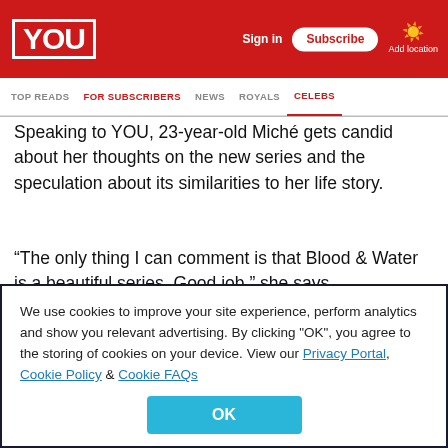YOU | Sign in | Subscribe | Add location
TOP READS | FOR SUBSCRIBERS | NEWS | ROYALS | CELEBS
Speaking to YOU, 23-year-old Miché gets candid about her thoughts on the new series and the speculation about its similarities to her life story.
“The only thing I can comment is that Blood & Water is a beautiful series. Good job,” she says.
While Miché acknowledges the series doesn’t exactly portray her life, she says there were a few similarities.
We use cookies to improve your site experience, perform analytics and show you relevant advertising. By clicking "OK", you agree to the storing of cookies on your device. View our Privacy Portal, Cookie Policy & Cookie FAQs